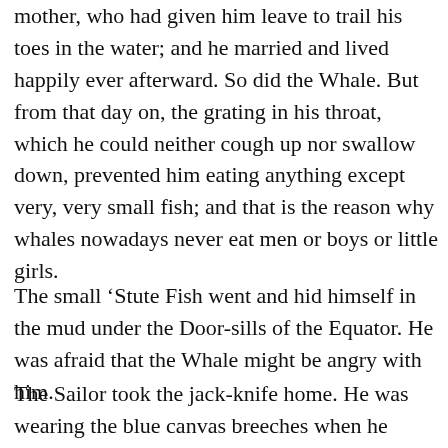mother, who had given him leave to trail his toes in the water; and he married and lived happily ever afterward. So did the Whale. But from that day on, the grating in his throat, which he could neither cough up nor swallow down, prevented him eating anything except very, very small fish; and that is the reason why whales nowadays never eat men or boys or little girls.
The small ‘Stute Fish went and hid himself in the mud under the Door-sills of the Equator. He was afraid that the Whale might be angry with him.
The Sailor took the jack-knife home. He was wearing the blue canvas breeches when he walked out on the shingle. The suspenders were left behind, you see, to